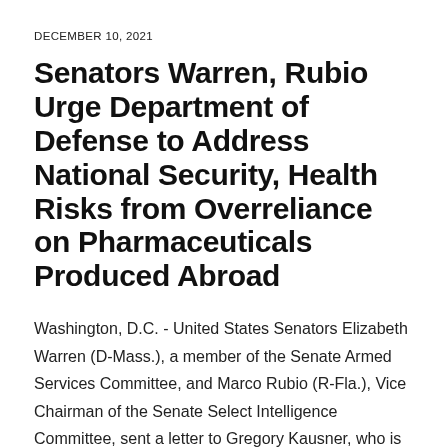DECEMBER 10, 2021
Senators Warren, Rubio Urge Department of Defense to Address National Security, Health Risks from Overreliance on Pharmaceuticals Produced Abroad
Washington, D.C. - United States Senators Elizabeth Warren (D-Mass.), a member of the Senate Armed Services Committee, and Marco Rubio (R-Fla.), Vice Chairman of the Senate Select Intelligence Committee, sent a letter to Gregory Kausner, who is